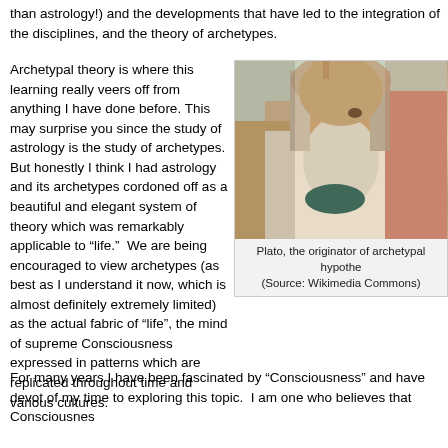than astrology!) and the developments that have led to the integration of the disciplines, and the theory of archetypes.
Archetypal theory is where this learning really veers off from anything I have done before. This may surprise you since the study of astrology is the study of archetypes. But honestly I think I had astrology and its archetypes cordoned off as a beautiful and elegant system of theory which was remarkably applicable to “life.” We are being encouraged to view archetypes (as best as I understand it now, which is almost definitely extremely limited) as the actual fabric of “life”, the mind of supreme Consciousness expressed in patterns which are replicated throughout time and various cultures.
[Figure (photo): Portrait painting of Plato, an elderly bearded man with long grey hair, raising one finger, wearing classical robes. From Raphael's School of Athens.]
Plato, the originator of archetypal hypothe... (Source: Wikimedia Commons)
For many years I have been fascinated by “Consciousness” and have devot... of my time to exploring this topic. I am one who believes that Consciousnes...